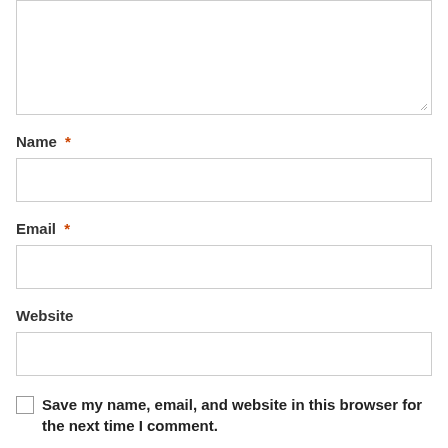[Figure (screenshot): A textarea input box (partially visible at the top of the page) with a resize handle at the bottom right corner]
Name *
[Figure (screenshot): A text input field for Name]
Email *
[Figure (screenshot): A text input field for Email]
Website
[Figure (screenshot): A text input field for Website]
Save my name, email, and website in this browser for the next time I comment.